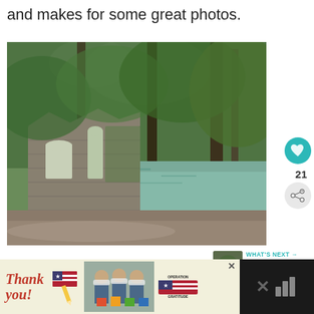and makes for some great photos.
[Figure (photo): Stone ruins of an old building with arched windows surrounded by lush green trees, with a calm green-blue lake or river visible in the background. Dirt path in foreground.]
21
WHAT'S NEXT → 21 Awesome Things to D...
[Figure (photo): Small thumbnail image for 'What's Next' section showing people outdoors]
[Figure (photo): Advertisement bar at the bottom: Thank You message with Operation Gratitude branding, showing healthcare workers with masks holding gift boxes]